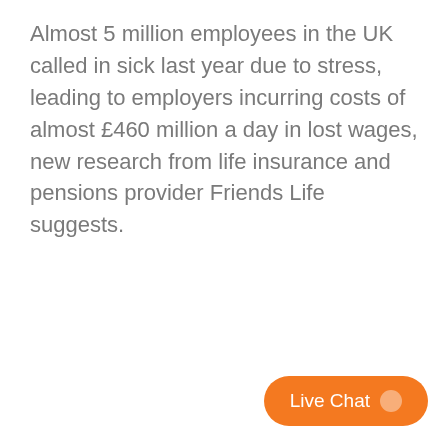Almost 5 million employees in the UK called in sick last year due to stress, leading to employers incurring costs of almost £460 million a day in lost wages, new research from life insurance and pensions provider Friends Life suggests.
[Figure (other): Orange 'Live Chat' button with chat bubble icon, positioned in the bottom-right corner of the page.]